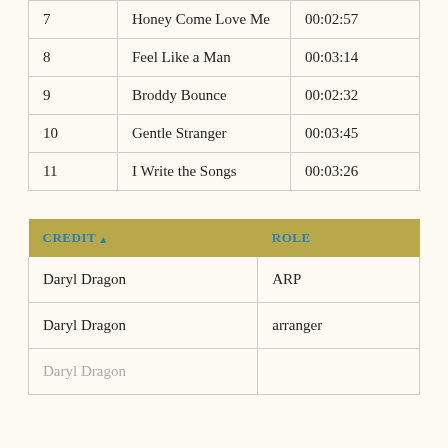| # | Title | Duration |
| --- | --- | --- |
| 7 | Honey Come Love Me | 00:02:57 |
| 8 | Feel Like a Man | 00:03:14 |
| 9 | Broddy Bounce | 00:02:32 |
| 10 | Gentle Stranger | 00:03:45 |
| 11 | I Write the Songs | 00:03:26 |
| CREDIT ▲ | ROLE |
| --- | --- |
| Daryl Dragon | ARP |
| Daryl Dragon | arranger |
| Daryl Dragon | ... |